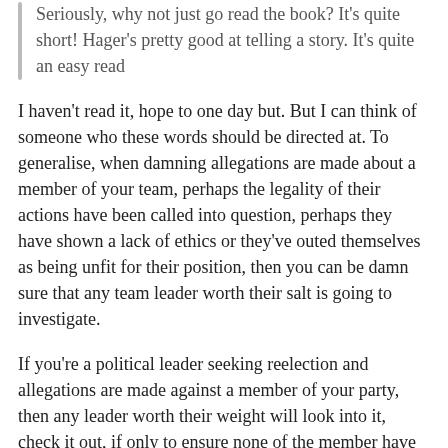Seriously, why not just go read the book? It's quite short! Hager's pretty good at telling a story. It's quite an easy read
I haven't read it, hope to one day but. But I can think of someone who these words should be directed at. To generalise, when damning allegations are made about a member of your team, perhaps the legality of their actions have been called into question, perhaps they have shown a lack of ethics or they've outed themselves as being unfit for their position, then you can be damn sure that any team leader worth their salt is going to investigate.
If you're a political leader seeking reelection and allegations are made against a member of your party, then any leader worth their weight will look into it, check it out, if only to ensure none of the member have committed actions that might compromise the stab at the crown, to make sure none of your number has done anything to downtrow the party and open you're clan up to a stern kick up the jacksy, to clarify whether these